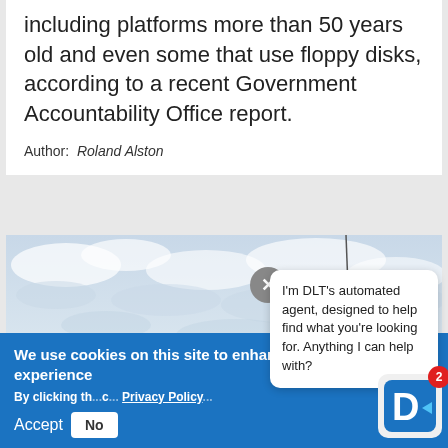including platforms more than 50 years old and even some that use floppy disks, according to a recent Government Accountability Office report.
Author: Roland Alston
[Figure (photo): Sky with clouds and a thin vertical line (possibly an antenna or pole) visible against a light blue cloudy sky]
We use cookies on this site to enhance your user experience
By clicking th... Privacy Policy...
Accept  No...
I'm DLT's automated agent, designed to help find what you're looking for. Anything I can help with?